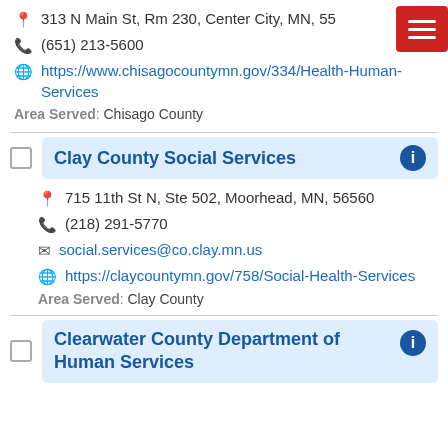313 N Main St, Rm 230, Center City, MN, 55...
(651) 213-5600
https://www.chisagocountymn.gov/334/Health-Human-Services
Area Served: Chisago County
Clay County Social Services
715 11th St N, Ste 502, Moorhead, MN, 56560
(218) 291-5770
social.services@co.clay.mn.us
https://claycountymn.gov/758/Social-Health-Services
Area Served: Clay County
Clearwater County Department of Human Services